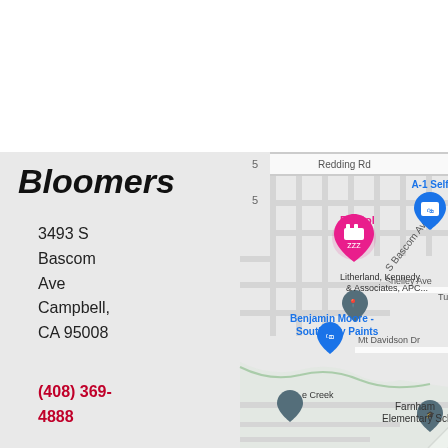[Figure (map): Google Maps view showing area around 3493 S Bascom Ave, Campbell, CA 95008. Map shows streets including Redding Rd, S Bascom Ave, Shelley Ave, Mt Davidson Dr, and nearby landmarks including Bristol hotel, A-1 Self Storage, Litherland Kennedy & Associates APC, Benjamin Moore South Bay Paints, Farnham Elementary School, and a creek area.]
Bloomers
3493 S Bascom Ave Campbell, CA 95008
(408) 369-4888